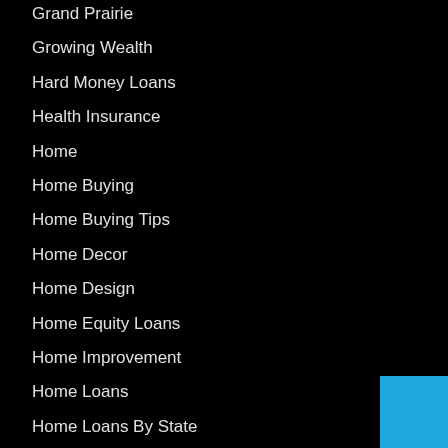Grand Prairie
Growing Wealth
Hard Money Loans
Health Insurance
Home
Home Buying
Home Buying Tips
Home Decor
Home Design
Home Equity Loans
Home Improvement
Home Loans
Home Loans By State
Home Ownership
Home Repair
Homestyle Loans